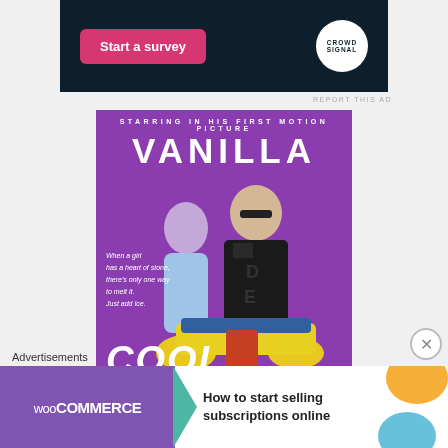[Figure (screenshot): CrowdSignal ad banner with dark navy background, pink 'Start a survey' button on the left and CrowdSignal circular white logo on the right]
REPORT THIS AD
[Figure (photo): Movie poster for 'Cool As Ice' featuring Vanilla Ice. Purple background, Vanilla Ice in leather jacket on motorcycle with woman behind him. Text: 'STARRING IN HIS FIRST MOTION PICTURE', 'VANILLA ICE', tagline 'When a girl has a heart of stone, there's only one way to melt it. Just add Ice.', and 'COOL' at the bottom.]
Advertisements
[Figure (screenshot): WooCommerce advertisement banner with purple background, teal arrow shape, and text 'How to start selling subscriptions online' with orange and blue decorative blobs]